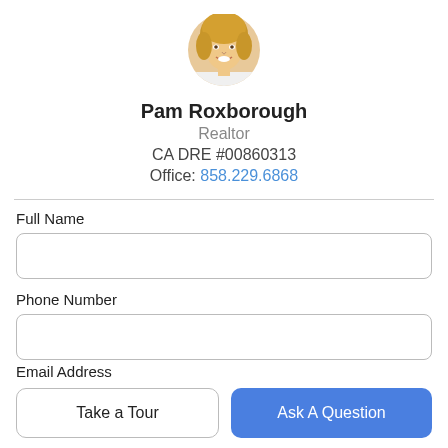[Figure (photo): Circular headshot photo of Pam Roxborough, a woman with short blonde hair, smiling]
Pam Roxborough
Realtor
CA DRE #00860313
Office: 858.229.6868
Full Name
Phone Number
Email Address
Take a Tour
Ask A Question